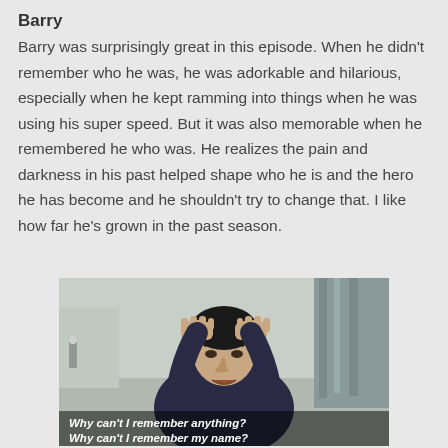Barry
Barry was surprisingly great in this episode. When he didn't remember who he was, he was adorkable and hilarious, especially when he kept ramming into things when he was using his super speed. But it was also memorable when he remembered he who was. He realizes the pain and darkness in his past helped shape who he is and the hero he has become and he shouldn't try to change that. I like how far he's grown in the past season.
[Figure (photo): A man with dark hair holding his head in distress, with white subtitles reading: Why can't I remember anything? Why can't I remember my name?]